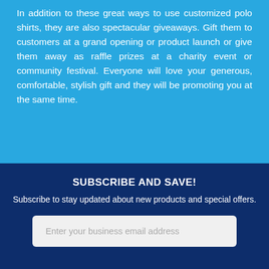In addition to these great ways to use customized polo shirts, they are also spectacular giveaways. Gift them to customers at a grand opening or product launch or give them away as raffle prizes at a charity event or community festival. Everyone will love your generous, comfortable, stylish gift and they will be promoting you at the same time.
SUBSCRIBE AND SAVE!
Subscribe to stay updated about new products and special offers.
Enter your business email address